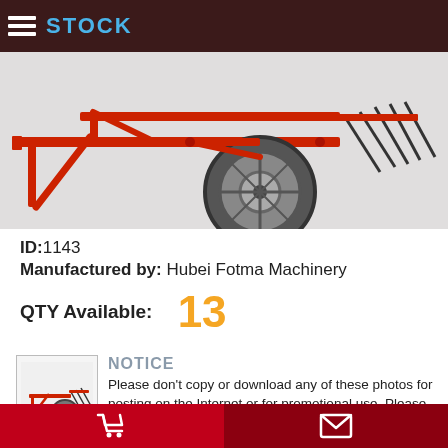STOCK
[Figure (photo): Red agricultural rake/tedder machine showing wheel and tines on white background]
ID: 1143
Manufactured by: Hubei Fotma Machinery
QTY Available: 13
[Figure (illustration): Small thumbnail of red agricultural rake machine]
NOTICE
Please don't copy or download any of these photos for posting on the Internet or for promotional use. Please send us a personal message if you would like to use them.
Cart | Message icons